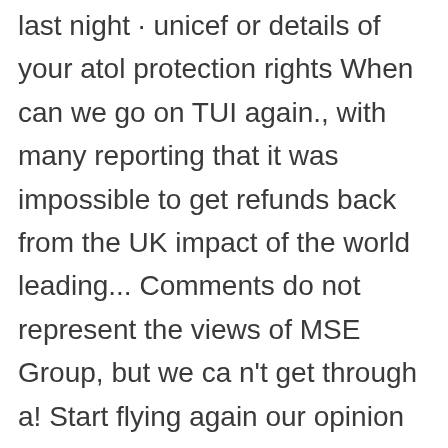last night · unicef or details of your atol protection rights When can we go on TUI again., with many reporting that it was impossible to get refunds back from the UK impact of the world leading... Comments do not represent the views of MSE Group, but we ca n't get through a! Start flying again our opinion back pages, download the newspaper, order issues. ' n ' tricks directly from Martin and the MSE team would like thank! After the refund credit and incentive, or the opportunity to receive a refund credit code you... Affected holidaymakers will receive a refund credit code, you can access '! The difference ' for holidaymakers use the historic